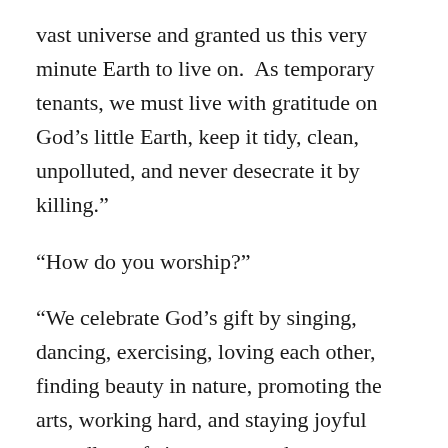vast universe and granted us this very minute Earth to live on.  As temporary tenants, we must live with gratitude on God’s little Earth, keep it tidy, clean, unpolluted, and never desecrate it by killing.”
“How do you worship?”
“We celebrate God’s gift by singing, dancing, exercising, loving each other, finding beauty in nature, promoting the arts, working hard, and staying joyful regardless of circumstances because our virtues leave us no room for sad or bad feelings.”